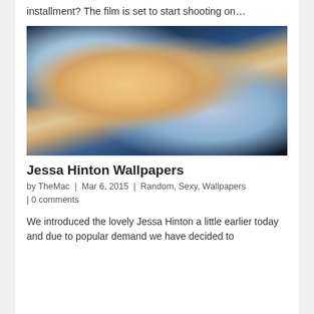installment? The film is set to start shooting on…
[Figure (photo): Woman in blue polka-dot bikini lying on a dark reflective surface, holding drinks, with blonde hair and trees visible in the background.]
Jessa Hinton Wallpapers
by TheMac | Mar 6, 2015 | Random, Sexy, Wallpapers | 0 comments
We introduced the lovely Jessa Hinton a little earlier today and due to popular demand we have decided to